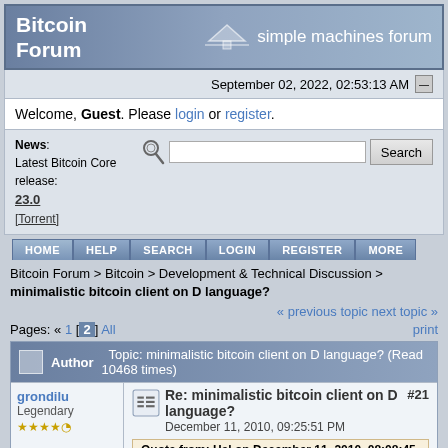Bitcoin Forum — simple machines forum
September 02, 2022, 02:53:13 AM
Welcome, Guest. Please login or register.
News: Latest Bitcoin Core release: 23.0 [Torrent]
HOME  HELP  SEARCH  LOGIN  REGISTER  MORE
Bitcoin Forum > Bitcoin > Development & Technical Discussion > minimalistic bitcoin client on D language?
« previous topic  next topic »
Pages: « 1 [2] All    print
| Author | Topic: minimalistic bitcoin client on D language? (Read 10468 times) |
| --- | --- |
| grondilu
Legendary
★★★★★ | Re: minimalistic bitcoin client on D language?
December 11, 2010, 09:25:51 PM
#21
Quote from: Hal on December 11, 2010, 08:08:45 PM |
Re: minimalistic bitcoin client on D language? #21 — December 11, 2010, 09:25:51 PM